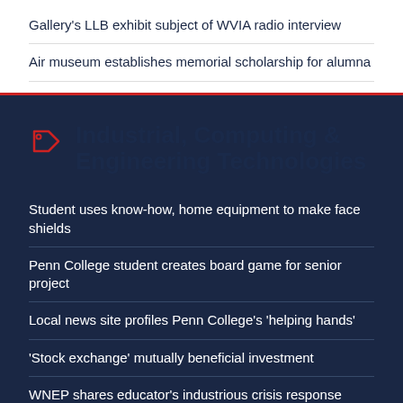Gallery's LLB exhibit subject of WVIA radio interview
Air museum establishes memorial scholarship for alumna
Industrial, Computing & Engineering Technologies
Student uses know-how, home equipment to make face shields
Penn College student creates board game for senior project
Local news site profiles Penn College's 'helping hands'
'Stock exchange' mutually beneficial investment
WNEP shares educator's industrious crisis response